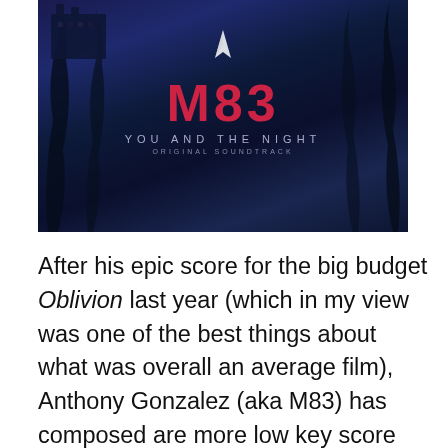[Figure (photo): Album cover for M83 'You and the Night' original soundtrack. Dark blue/navy night scene with trees and a building. Large red 'M83' text with 'YOU AND THE NIGHT' subtitle and 'ORIGINAL SOUNDTRACK' below. A white paper plane silhouette is visible at the top center.]
After his epic score for the big budget Oblivion last year (which in my view was one of the best things about what was overall an average film), Anthony Gonzalez (aka M83) has composed are more low key score for this surreal French sex comedy (please do not let those three words put you off) directed by his brother Yann. The result is a beautifully intimate and ambient electronic composition featuring M83's trademark soundscapes and some haunting vocals. His music has always been very cinematic in my view; hence individual tracks constantly being used in films and trailers, and I hope Gonzalez continues to use his talents to compose film scores.